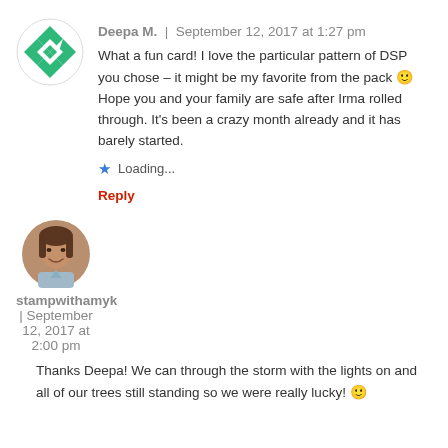[Figure (illustration): Green and white diamond patterned avatar icon for Deepa M.]
Deepa M. | September 12, 2017 at 1:27 pm
What a fun card! I love the particular pattern of DSP you chose – it might be my favorite from the pack 🙂 Hope you and your family are safe after Irma rolled through. It's been a crazy month already and it has barely started.
★ Loading...
Reply
[Figure (photo): Circular profile photo of stampwithamyk with red border, showing a woman smiling]
stampwithamyk | September 12, 2017 at 2:00 pm
Thanks Deepa! We can through the storm with the lights on and all of our trees still standing so we were really lucky! 🙂